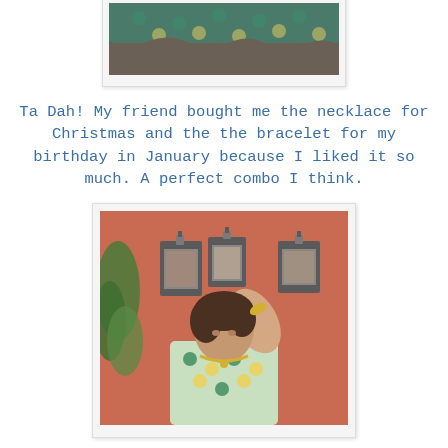[Figure (photo): Top partial photo showing what appears to be a green/teal patterned fabric or decoration, cropped at the top of the page]
Ta Dah! My friend bought me the necklace for Christmas and the the bracelet for my birthday in January because I liked it so much. A perfect combo I think.
[Figure (photo): Woman with short dark hair, wearing a green/white polka dot sleeveless top and yellow/green necklace and bracelet, posing with her hand raised to her hair against a terracotta/salmon colored wall with three framed pictures hanging on it and a plant visible on the left]